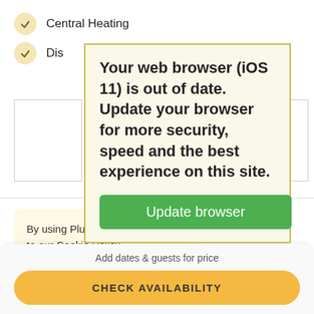Central Heating
Dish...
[Figure (screenshot): Browser update warning popup with yellow background and green 'Update browser' button. Text reads: 'Your web browser (iOS 11) is out of date. Update your browser for more security, speed and the best experience on this site.']
By using Plum Guide, you agree to our Cookie Policy.
The striking features and hidden details that caught
Add dates & guests for price
CHECK AVAILABILITY